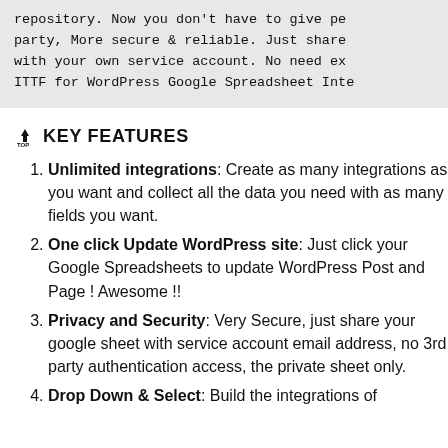repository. Now you don't have to give pe party, More secure & reliable. Just share with your own service account. No need ex ITTF for WordPress Google Spreadsheet Inte
KEY FEATURES
Unlimited integrations: Create as many integrations as you want and collect all the data you need with as many fields you want.
One click Update WordPress site: Just click your Google Spreadsheets to update WordPress Post and Page ! Awesome !!
Privacy and Security: Very Secure, just share your google sheet with service account email address, no 3rd party authentication access, the private sheet only.
Drop Down & Select: Build the integrations of